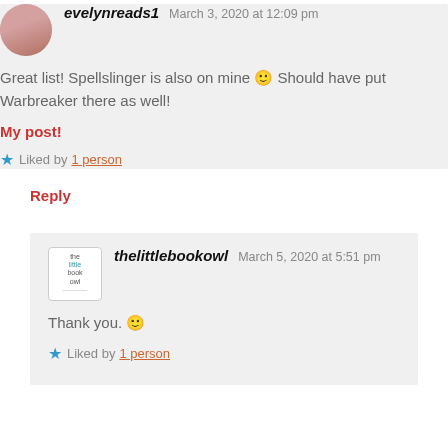evelynreads1   March 3, 2020 at 12:09 pm
Great list! Spellslinger is also on mine 🙂 Should have put Warbreaker there as well!
My post!
Liked by 1 person
Reply
thelittlebookowl   March 5, 2020 at 5:51 pm
Thank you. 🙂
Liked by 1 person